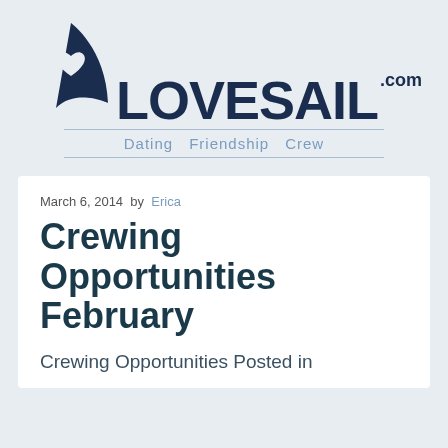[Figure (logo): Lovesail.com logo with sailing boat sail icon containing a heart, and text LOVESAIL.com with tagline Dating Friendship Crew]
March 6, 2014  by  Erica
Crewing Opportunities February
Crewing Opportunities Posted in